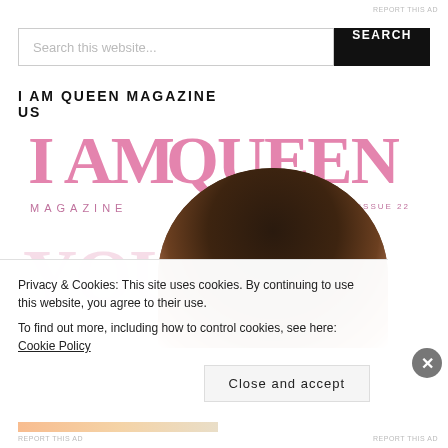REPORT THIS AD
Search this website...
I AM QUEEN MAGAZINE US
[Figure (photo): I AM QUEEN MAGAZINE cover showing large pink serif text 'I AM QUEEN' as title, 'MAGAZINE' label, 'SPRING ISSUE 22' text, and a person's head visible in the center-right of the cover]
Privacy & Cookies: This site uses cookies. By continuing to use this website, you agree to their use.
To find out more, including how to control cookies, see here: Cookie Policy
Close and accept
REPORT THIS AD
REPORT THIS AD